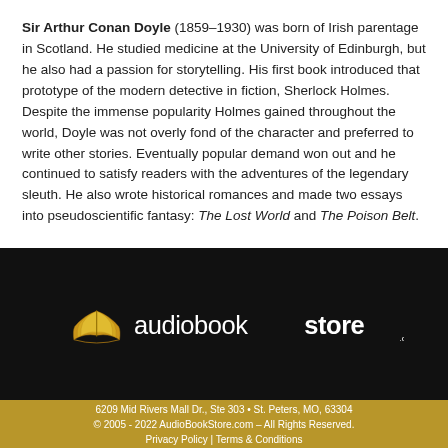Sir Arthur Conan Doyle (1859–1930) was born of Irish parentage in Scotland. He studied medicine at the University of Edinburgh, but he also had a passion for storytelling. His first book introduced that prototype of the modern detective in fiction, Sherlock Holmes. Despite the immense popularity Holmes gained throughout the world, Doyle was not overly fond of the character and preferred to write other stories. Eventually popular demand won out and he continued to satisfy readers with the adventures of the legendary sleuth. He also wrote historical romances and made two essays into pseudoscientific fantasy: The Lost World and The Poison Belt.
[Figure (logo): AudioBookStore.com logo with gold open book icon and white text on black background]
6209 Mid Rivers Mall Dr., Ste 303 • St. Peters, MO, 63304
© 2005 - 2022 AudioBookStore.com – All Rights Reserved.
Privacy Policy | Terms & Conditions